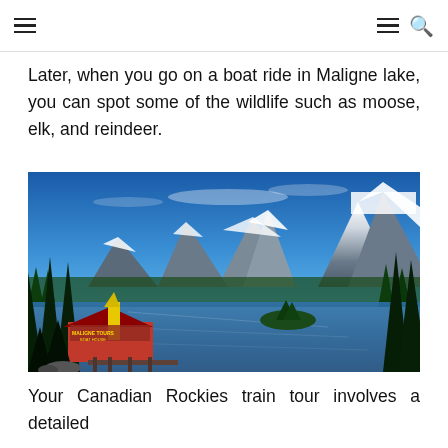Navigation header with hamburger menu icons and search icon
Later, when you go on a boat ride in Maligne lake, you can spot some of the wildlife such as moose, elk, and reindeer.
[Figure (photo): Aerial view of Maligne Lake in the Canadian Rockies with snow-capped mountains in the background, a calm blue lake, dense evergreen forests, and the Maligne Tours Boat House with a red roof visible on the left side.]
Your Canadian Rockies train tour involves a detailed